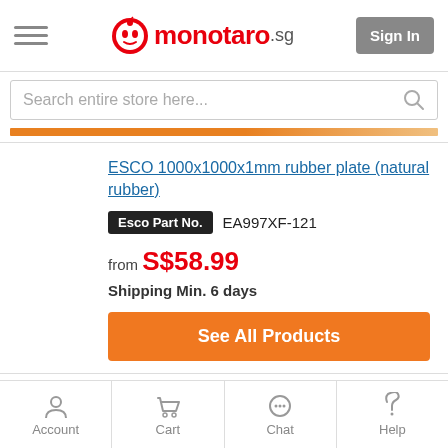monotaro.sg — Sign In
Search entire store here...
ESCO 1000x1000x1mm rubber plate (natural rubber)
Esco Part No. EA997XF-121
from S$58.99
Shipping Min. 6 days
See All Products
ESCO 200x 500x3mm rubber plate (natural rubber)
Account  Cart  Chat  Help